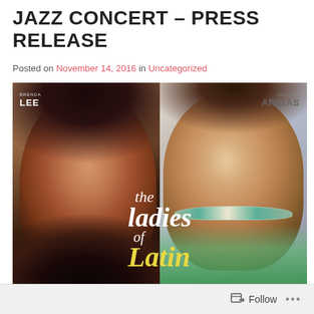JAZZ CONCERT – PRESS RELEASE
Posted on November 14, 2016 in Uncategorized
[Figure (illustration): Concert promotional image featuring two women (Brenda Lee on left with dark hair and black lace dress against warm brown background; Juliana Areias on right smiling with turquoise necklace and green outfit against light background) with overlaid text reading 'the Ladies of Latin']
Follow ...